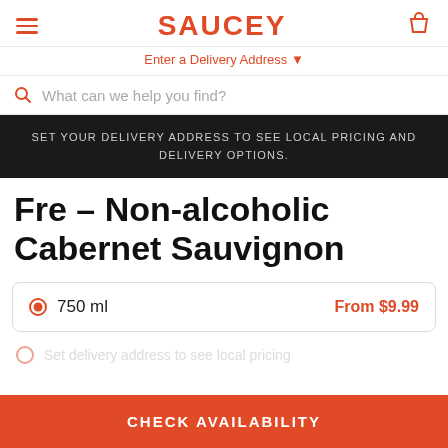SAUCEY — Enter a Delivery Address
What can we help you find?
SET YOUR DELIVERY ADDRESS TO SEE LOCAL PRICING AND DELIVERY OPTIONS.
Fre – Non-alcoholic Cabernet Sauvignon
750 ml   From $9.99
Set delivery address to see local pricing
CHECK AVAILABILITY